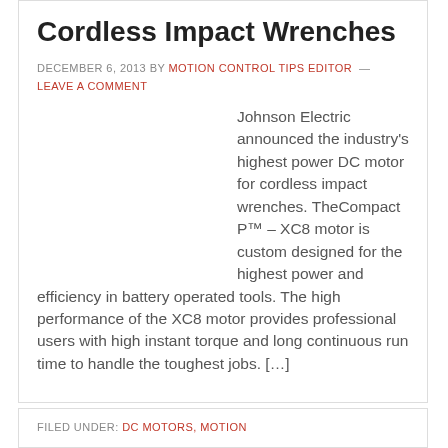Cordless Impact Wrenches
DECEMBER 6, 2013 BY MOTION CONTROL TIPS EDITOR — LEAVE A COMMENT
Johnson Electric announced the industry's highest power DC motor for cordless impact wrenches. TheCompact P™ – XC8 motor is custom designed for the highest power and efficiency in battery operated tools. The high performance of the XC8 motor provides professional users with high instant torque and long continuous run time to handle the toughest jobs. […]
FILED UNDER: